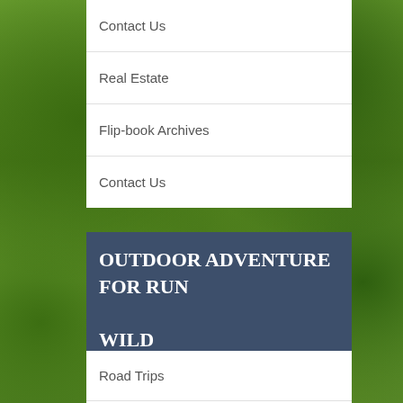[Figure (photo): Forest background with green trees and foliage]
Contact Us
Real Estate
Flip-book Archives
Contact Us
OUTDOOR ADVENTURE FOR RUN WILD
Road Trips
Hunting & Fishing – NorCal
Critters